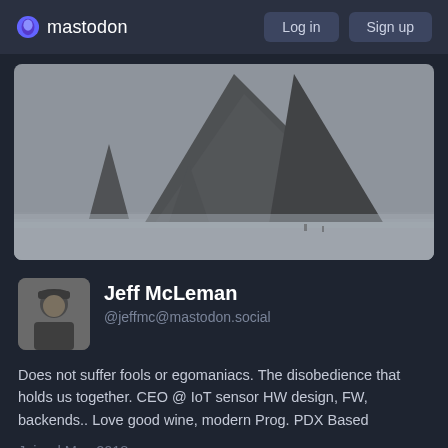mastodon   Log in   Sign up
[Figure (photo): Black and white photo of Haystack Rock at Cannon Beach, Oregon. Large pyramid-shaped rock formation in the ocean with smaller rocks nearby, under an overcast sky.]
[Figure (photo): Profile avatar photo of Jeff McLeman, a man wearing a cap, in grayscale.]
Jeff McLeman
@jeffmc@mastodon.social
Does not suffer fools or egomaniacs. The disobedience that holds us together. CEO @ IoT sensor HW design, FW, backends.. Love good wine, modern Prog. PDX Based
Joined May 2018